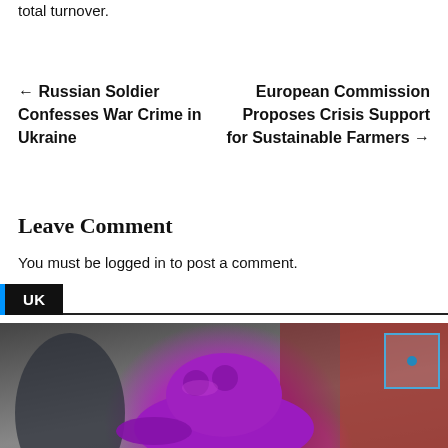total turnover.
← Russian Soldier Confesses War Crime in Ukraine
European Commission Proposes Crisis Support for Sustainable Farmers →
Leave Comment
You must be logged in to post a comment.
UK
[Figure (photo): A person wearing a decorative purple felt hat with pompom details, photographed at an event with blurred background.]